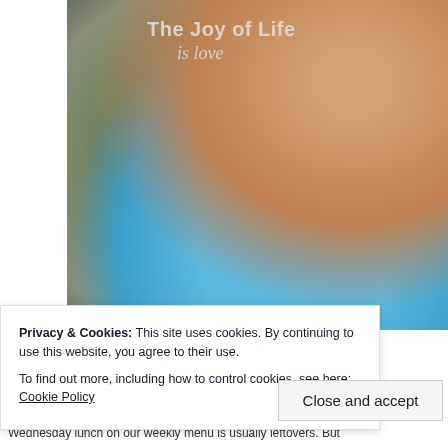[Figure (photo): Close-up photo of a young child in a blue shirt biting or chewing on what appears to be a spoon or utensil with a string/noodle. The background is a muted gray-green concrete wall. Overlay text reads 'The Joy of Life' and 'is love'.]
The Joy of Life is love
Privacy & Cookies: This site uses cookies. By continuing to use this website, you agree to their use.
To find out more, including how to control cookies, see here: Cookie Policy
Close and accept
Wednesday lunch on our weekly menu is usually leftovers. But